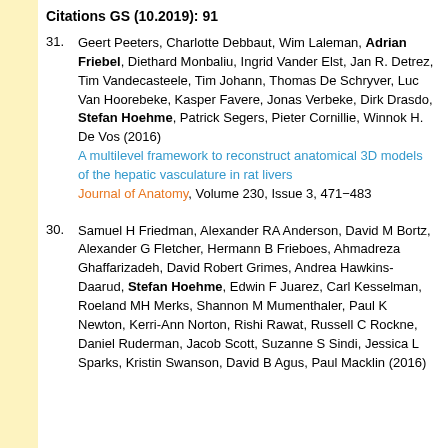Citations GS (10.2019): 91
31. Geert Peeters, Charlotte Debbaut, Wim Laleman, Adrian Friebel, Diethard Monbaliu, Ingrid Vander Elst, Jan R. Detrez, Tim Vandecasteele, Tim Johann, Thomas De Schryver, Luc Van Hoorebeke, Kasper Favere, Jonas Verbeke, Dirk Drasdo, Stefan Hoehme, Patrick Segers, Pieter Cornillie, Winnok H. De Vos (2016) A multilevel framework to reconstruct anatomical 3D models of the hepatic vasculature in rat livers Journal of Anatomy, Volume 230, Issue 3, 471-483
30. Samuel H Friedman, Alexander RA Anderson, David M Bortz, Alexander G Fletcher, Hermann B Frieboes, Ahmadreza Ghaffarizadeh, David Robert Grimes, Andrea Hawkins-Daarud, Stefan Hoehme, Edwin F Juarez, Carl Kesselman, Roeland MH Merks, Shannon M Mumenthaler, Paul K Newton, Kerri-Ann Norton, Rishi Rawat, Russell C Rockne, Daniel Ruderman, Jacob Scott, Suzanne S Sindi, Jessica L Sparks, Kristin Swanson, David B Agus, Paul Macklin (2016)